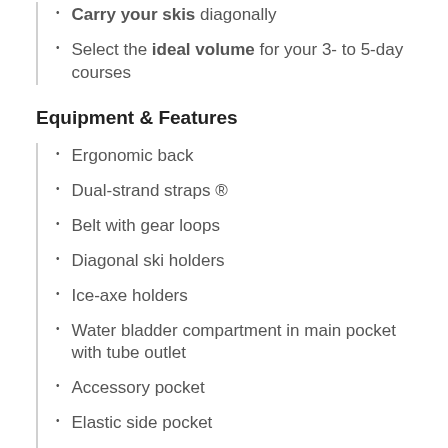Carry your skis diagonally
Select the ideal volume for your 3- to 5-day courses
Equipment & Features
Ergonomic back
Dual-strand straps ®
Belt with gear loops
Diagonal ski holders
Ice-axe holders
Water bladder compartment in main pocket with tube outlet
Accessory pocket
Elastic side pocket
Wide opening with horizontal and vertical